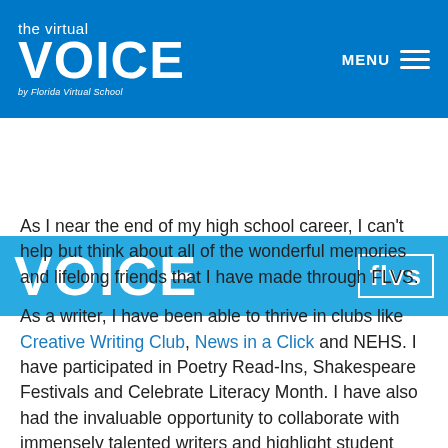the virtual VOICE by Florida Virtual School — MENU
[Figure (logo): VOICE banner with FLVS logo on blue background]
As I near the end of my high school career, I can't help but think about all of the wonderful memories and lifelong friends that I have made through FLVS.
As a writer, I have been able to thrive in clubs like Creative Writing Club, News in a Click and NEHS. I have participated in Poetry Read-Ins, Shakespeare Festivals and Celebrate Literacy Month. I have also had the invaluable opportunity to collaborate with immensely talented writers and highlight student work through Open Mics. These experiences have greatly enriched my writing and provided inspiration that I